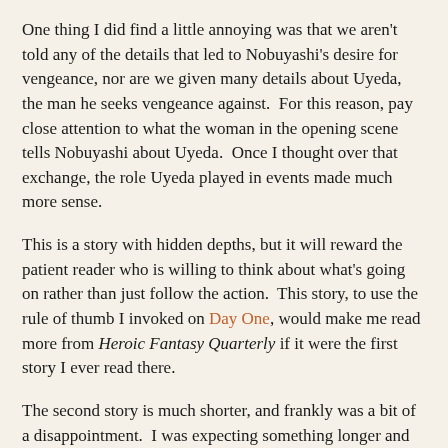One thing I did find a little annoying was that we aren't told any of the details that led to Nobuyashi's desire for vengeance, nor are we given many details about Uyeda, the man he seeks vengeance against.  For this reason, pay close attention to what the woman in the opening scene tells Nobuyashi about Uyeda.  Once I thought over that exchange, the role Uyeda played in events made much more sense.
This is a story with hidden depths, but it will reward the patient reader who is willing to think about what's going on rather than just follow the action.  This story, to use the rule of thumb I invoked on Day One, would make me read more from Heroic Fantasy Quarterly if it were the first story I ever read there.
The second story is much shorter, and frankly was a bit of a disappointment.  I was expecting something longer and more involved.  The story is "The Baroness Drefelin" by David Pilling.  It's quite short and concerns a knight in love with the Queen of England.  Which one, we're not told, but we are given enough information to know this is fairly soon after the Norman Conquest.  When accused of less than a pure desire for the Queen, he kills his